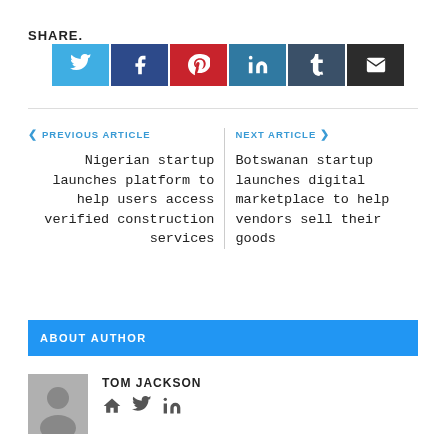SHARE.
[Figure (infographic): Social share buttons: Twitter (blue), Facebook (dark blue), Pinterest (red), LinkedIn (teal), Tumblr (dark teal), Email (dark gray)]
< PREVIOUS ARTICLE
Nigerian startup launches platform to help users access verified construction services
NEXT ARTICLE >
Botswanan startup launches digital marketplace to help vendors sell their goods
ABOUT AUTHOR
TOM JACKSON
[Figure (infographic): Author avatar placeholder (gray circle on gray background) and social media icons (home, twitter, linkedin)]